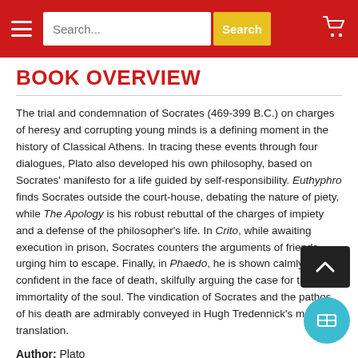Search... Search
BOOK OVERVIEW
The trial and condemnation of Socrates (469-399 B.C.) on charges of heresy and corrupting young minds is a defining moment in the history of Classical Athens. In tracing these events through four dialogues, Plato also developed his own philosophy, based on Socrates' manifesto for a life guided by self-responsibility. Euthyphro finds Socrates outside the court-house, debating the nature of piety, while The Apology is his robust rebuttal of the charges of impiety and a defense of the philosopher's life. In Crito, while awaiting execution in prison, Socrates counters the arguments of friends urging him to escape. Finally, in Phaedo, he is shown calmly confident in the face of death, skilfully arguing the case for the immortality of the soul. The vindication of Socrates and the pathos of his death are admirably conveyed in Hugh Tredennick's modern translation.
Author: Plato